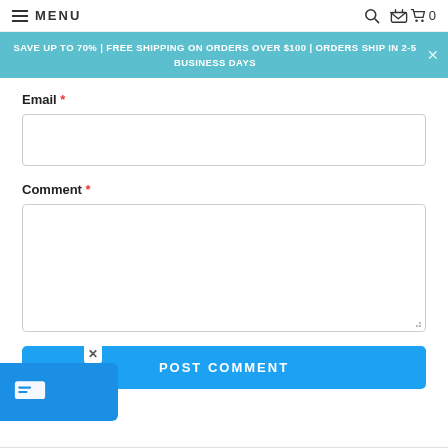MENU | search | cart 0
SAVE UP TO 70% | FREE SHIPPING ON ORDERS OVER $100 | ORDERS SHIP IN 2-5 BUSINESS DAYS
Email *
Comment *
POST COMMENT